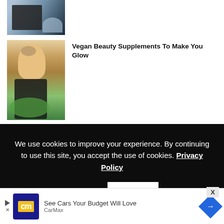[Figure (photo): Partial view of clothing/fashion items at top of page]
[Figure (photo): Blonde woman with glasses drinking from a cup outdoors]
Vegan Beauty Supplements To Make You Glow
We use cookies to improve your experience. By continuing to use this site, you accept the use of cookies. Privacy Policy  Accept
[Figure (photo): Two young people (Asian man and woman) in fashion clothing]
Top Indian Designer Ujjawal Dubey Goes Greener
[Figure (other): CarMax advertisement banner: See Cars Your Budget Will Love]